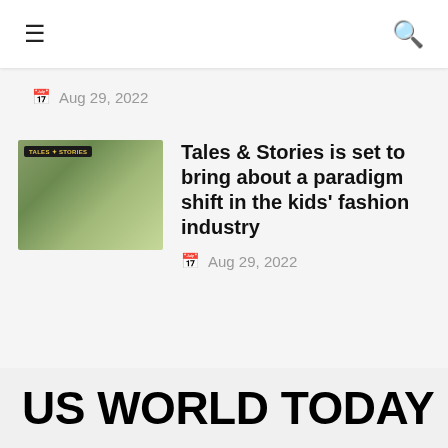≡  🔍
Aug 29, 2022
Tales & Stories is set to bring about a paradigm shift in the kids' fashion industry
Aug 29, 2022
[Figure (photo): Children posing outdoors with Tales & Stories logo badge overlay]
US WORLD TODAY